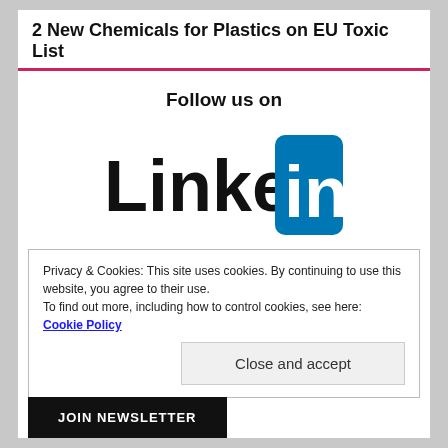2 New Chemicals for Plastics on EU Toxic List
Follow us on
[Figure (logo): LinkedIn logo: black 'Linked' text followed by a blue rounded rectangle with white 'in' text]
Privacy & Cookies: This site uses cookies. By continuing to use this website, you agree to their use.
To find out more, including how to control cookies, see here: Cookie Policy
Close and accept
JOIN NEWSLETTER